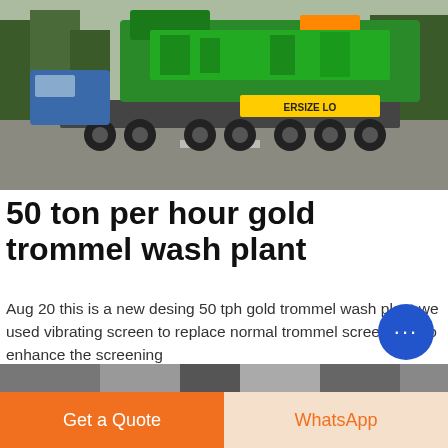[Figure (photo): Large green heavy machinery/trommel wash plant loaded on a multi-axle truck flatbed trailer travelling on a rural road, with trees in background. The trailer has an 'OVERSIZE LOAD' sign.]
50 ton per hour gold trommel wash plant
Aug 20 this is a new desing 50 tph gold trommel wash plant we used vibrating screen to replace normal trommel screen part to enhance the screening
MORE
[Figure (photo): Partial view of another image at the bottom of the card, cropped.]
Get a Quote
WhatsApp